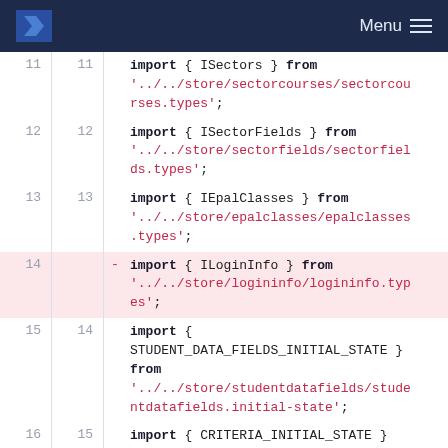Menu
11  11   import { ISectors } from '../../store/sectorcourses/sectorcourses.types';
12  12   import { ISectorFields } from '../../store/sectorfields/sectorfields.types';
13  13   import { IEpalClasses } from '../../store/epalclasses/epalclasses.types';
14   -  import { ILoginInfo } from '../../store/logininfo/logininfo.types';
15  14   import { STUDENT_DATA_FIELDS_INITIAL_STATE } from '../../store/studentdatafields/studentdatafields.initial-state';
16  15   import { CRITERIA_INITIAL_STATE } from '../../store/criteria/criteria.initi